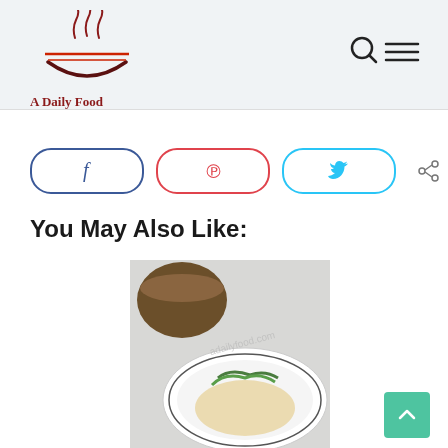A Daily Food
[Figure (logo): A Daily Food logo with stylized bowl and steam, red and dark brown colors]
[Figure (infographic): Social share buttons: Facebook (f), Pinterest (p), Twitter (bird icon), with share count of 33 SHARES]
You May Also Like:
[Figure (photo): Food photo showing a bowl with noodles, greens, and a cup of broth/sauce on a light background]